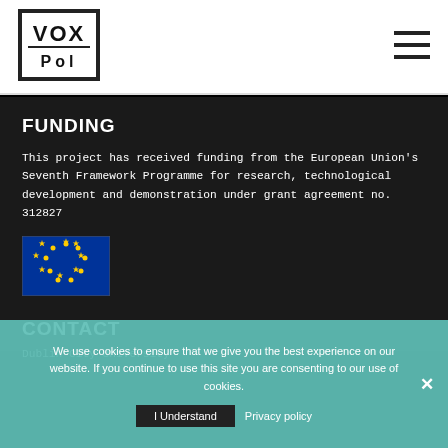[Figure (logo): VOX-Pol logo — white box with black border containing text VOX above Pol]
[Figure (illustration): Hamburger menu icon (three horizontal lines) in top-right corner]
FUNDING
This project has received funding from the European Union's Seventh Framework Programme for research, technological development and demonstration under grant agreement no. 312827
[Figure (illustration): European Union flag — blue background with circle of 12 yellow stars]
CONTACT
Dublin City University
We use cookies to ensure that we give you the best experience on our website. If you continue to use this site you are consenting to our use of cookies.